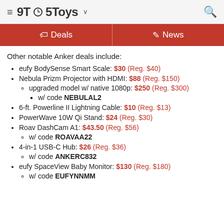9TO5Toys
Other notable Anker deals include:
eufy BodySense Smart Scale: $30 (Reg. $40)
Nebula Prizm Projector with HDMI: $88 (Reg. $150)
upgraded model w/ native 1080p: $250 (Reg. $300)
w/ code NEBULAL2
6-ft. Powerline II Lightning Cable: $10 (Reg. $13)
PowerWave 10W Qi Stand: $24 (Reg. $30)
Roav DashCam A1: $43.50 (Reg. $56)
w/ code ROAVAA22
4-in-1 USB-C Hub: $26 (Reg. $36)
w/ code ANKERC832
eufy SpaceView Baby Monitor: $130 (Reg. $180)
w/ code EUFYNNMM